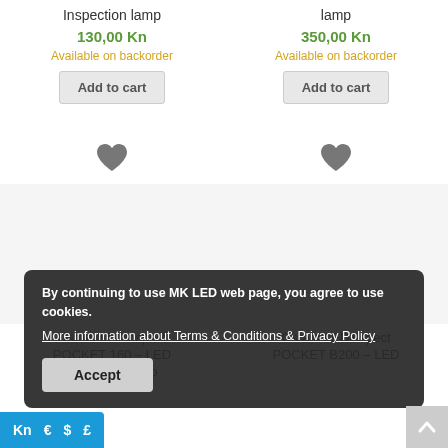Inspection lamp
130,00 Kn
Available on backorder
Add to cart
350,00 Kn
Available on backorder
Add to cart
[Figure (other): Heart/wishlist icon left column]
[Figure (other): Heart/wishlist icon right column]
Osram LEDinspect POCKET 160 – LED Inspection lamp
Osram LEDinspect POCKET B200 – LED
By continuing to use MK LED web page, you agree to use cookies.
More information about Terms & Conditions & Privacy Policy
Accept
Kn € $ £